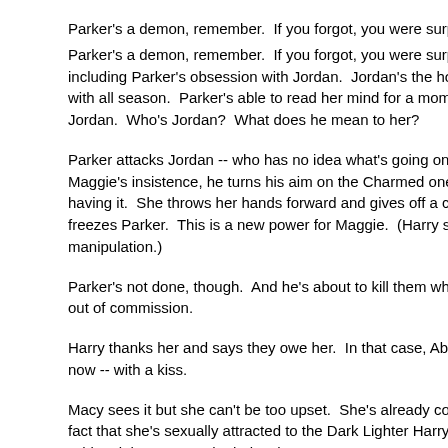Parker's a demon, remember.  If you forgot, you were surprised including Parker's obsession with Jordan.  Jordan's the hottie that with all season.  Parker's able to read her mind for a moment a Jordan.  Who's Jordan?  What does he mean to her?
Parker attacks Jordan -- who has no idea what's going on.  And Maggie's insistence, he turns his aim on the Charmed ones and having it.  She throws her hands forward and gives off a charge freezes Parker.  This is a new power for Maggie.  (Harry says it manipulation.)
Parker's not done, though.  And he's about to kill them when his out of commission.
Harry thanks her and says they owe her.  In that case, Abby sa now -- with a kiss.
Macy sees it but she can't be too upset.  She's already confess fact that she's sexually attracted to the Dark Lighter Harry who White Lighter Harry who helps them.